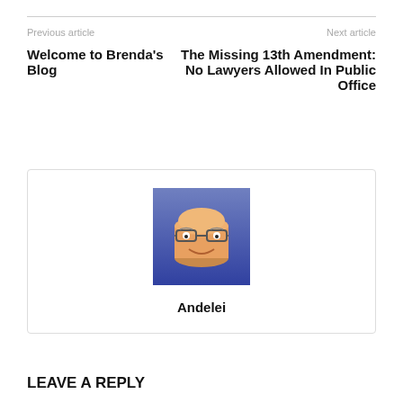Previous article
Next article
Welcome to Brenda's Blog
The Missing 13th Amendment: No Lawyers Allowed In Public Office
[Figure (illustration): Cartoon avatar of a smiling cylinder-shaped character with glasses and a peach/orange color, set against a blue-purple gradient background. Below the avatar is the name 'Andelei' in bold.]
LEAVE A REPLY